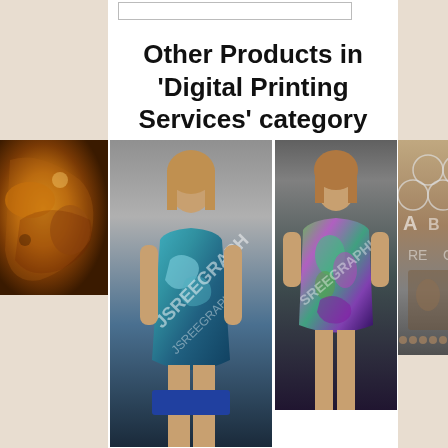Other Products in 'Digital Printing Services' category
[Figure (photo): Abstract orange/brown artistic illustration]
[Figure (photo): Fashion model wearing a colorful printed dress with watermark text]
[Figure (photo): Fashion model wearing a colorful green/purple printed mini dress]
[Figure (photo): Close-up of decorative printed fabric with lace-like pattern]